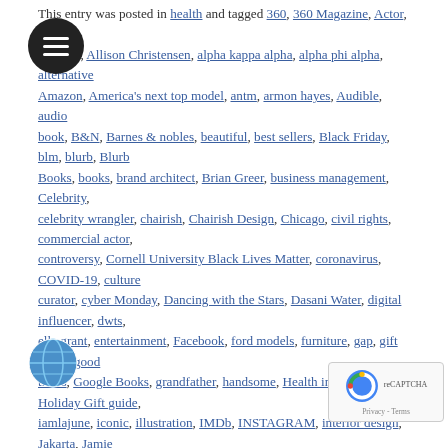This entry was posted in health and tagged 360, 360 Magazine, Actor, Aetna, Villagra, Allison Christensen, alpha kappa alpha, alpha phi alpha, alternative Amazon, America's next top model, antm, armon hayes, Audible, audio book, B&N, Barnes & nobles, beautiful, best sellers, Black Friday, blm, blurb, Blurb Books, books, brand architect, Brian Greer, business management, Celebrity, celebrity wrangler, chairish, Chairish Design, Chicago, civil rights, commercial actor, controversy, Cornell University Black Lives Matter, coronavirus, COVID-19, culture curator, cyber Monday, Dancing with the Stars, Dasani Water, digital influencer, dwts, elle grant, entertainment, Facebook, ford models, furniture, gap, gift guide, good times, Google Books, grandfather, handsome, Health insurance, Holiday Gift guide, iamlajune, iconic, illustration, IMDb, INSTAGRAM, interior design, Jakarta, Jamie Foxx, Joe boxer guy, jonahaze, Joseph lowery, justice system, Katrina Tiktinsky, Krishan Narsinghani, LaJune Music, legacy, LGBT, life insurance, linkedin, London, Los Angeles, male model, man about town, marc ecko, marketing, marketing and sales, media mogul, Medicare, Miami, Michelle Obama, micro influencer, MLWXBF, MOVE LIKE WATER AND BE FLUID, MOVE LIKE WATER X BE FLUID, nbc, New Jersey, New York, next models, nnenna Agba, nyc, Oprah Winfrey, outbreak, pandemic, pioneer, pop culture, powerful story, provocative, racial ambiguity, renaissance man, round-up, Saks fifth avenue, San Francisco, Scrubs, season's greetings, self-help, self-help book, sensuality, sexual ambiguity, sexuality, social media, societal change, south africa, story, style, supermodel, tablet, Target, dancing guy, top authors, top models, tragic death, Tv actor, tv show, Twitter, banker, US Healthcare, UK, unisex, Vaughn Lowery, Walmart, Wikipedia, work ethic, YouTube, Skai Jackson on 07/06/2021 by Wp360man.